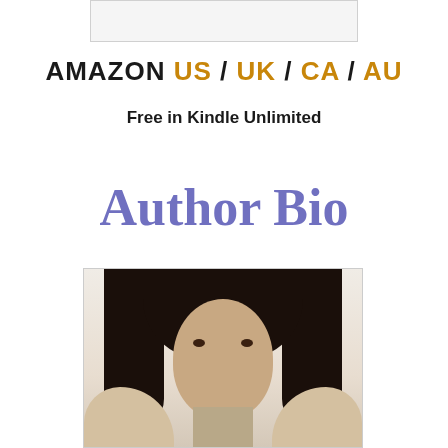[Figure (other): Partial top image, cropped book cover or image placeholder]
AMAZON US / UK / CA / AU
Free in Kindle Unlimited
Author Bio
[Figure (photo): Portrait photo of a woman with long dark hair, looking at the camera, seated in a light-colored chair]